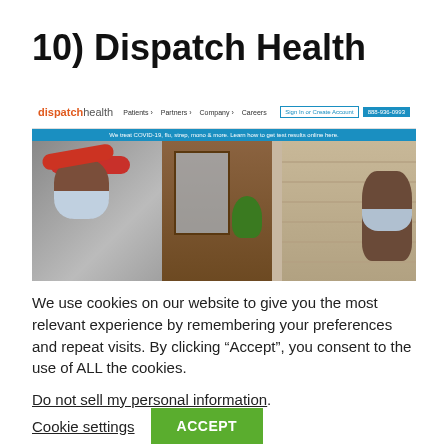10) Dispatch Health
[Figure (screenshot): Screenshot of the Dispatch Health website showing the navigation bar with logo, menu items (Patients, Partners, Company, Careers), Sign in or Create Account button, phone number button, a blue COVID-19 announcement banner, and a hero image showing a masked healthcare worker at a patient's door alongside another person.]
We use cookies on our website to give you the most relevant experience by remembering your preferences and repeat visits. By clicking “Accept”, you consent to the use of ALL the cookies.
Do not sell my personal information.
Cookie settings
ACCEPT